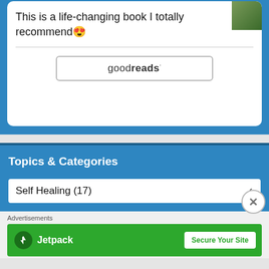This is a life-changing book I totally recommend 😍
[Figure (logo): Goodreads logo button with rounded rectangle border]
Topics & Categories
Self Healing  (17)
Advertisements
[Figure (other): Jetpack advertisement banner with green background, Jetpack logo on left and 'Secure Your Site' button on right]